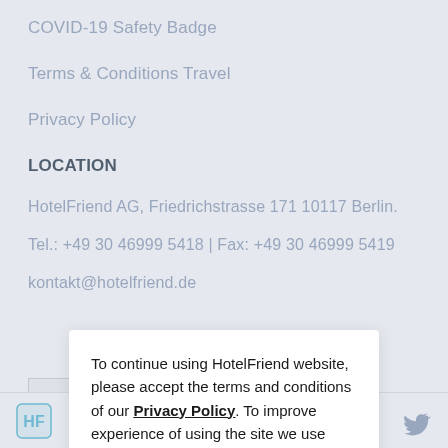COVID-19 Safety Badge
Terms & Conditions Travel
Privacy Policy
LOCATION
HotelFriend AG, Friedrichstrasse 171 10117 Berlin.
Tel.: +49 30 46999 5418 | Fax: +49 30 46999 5419
kontakt@hotelfriend.de
[Figure (screenshot): Download on the App Store button partially visible]
To continue using HotelFriend website, please accept the terms and conditions of our Privacy Policy. To improve experience of using the site we use some of your personal data.
Accept